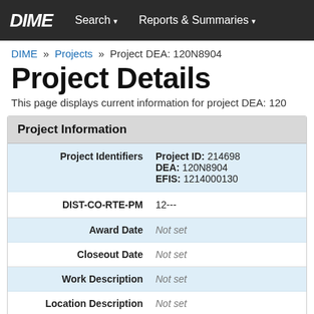DIME   Search ▾   Reports & Summaries ▾
DIME » Projects » Project DEA: 120N8904
Project Details
This page displays current information for project DEA: 120…
Project Information
| Field | Value |
| --- | --- |
| Project Identifiers | Project ID: 214698
DEA: 120N8904
EFIS: 1214000130 |
| DIST-CO-RTE-PM | 12--- |
| Award Date | Not set |
| Closeout Date | Not set |
| Work Description | Not set |
| Location Description | Not set |